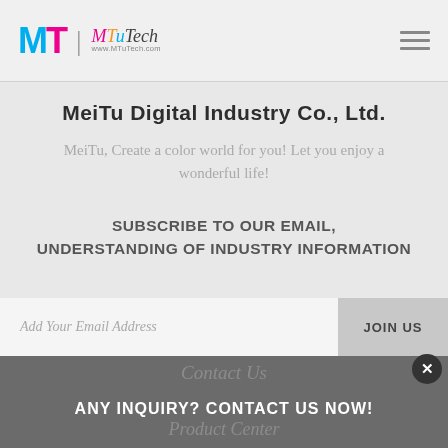MTuTech | www.MTuTech.com
MeiTu Digital Industry Co., Ltd.
MeiTu, Create a color world for you! Let you enjoy a wonderful life!
SUBSCRIBE TO OUR EMAIL, UNDERSTANDING OF INDUSTRY INFORMATION
Add Your Email Address
JOIN US
Contact Us  ANY INQUIRY? CONTACT US NOW!  Product Center